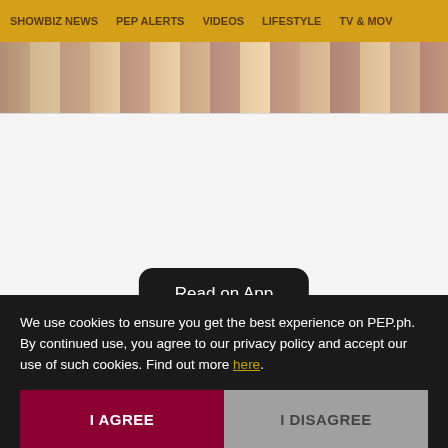SHOWBIZ NEWS  PEP ALERTS  VIDEOS  LIFESTYLE  TV & MOV
[Figure (photo): Cropped image strip showing a wooden or natural texture surface]
Read on App
We use cookies to ensure you get the best experience on PEP.ph. By continued use, you agree to our privacy policy and accept our use of such cookies. Find out more here.
I AGREE
I DISAGREE